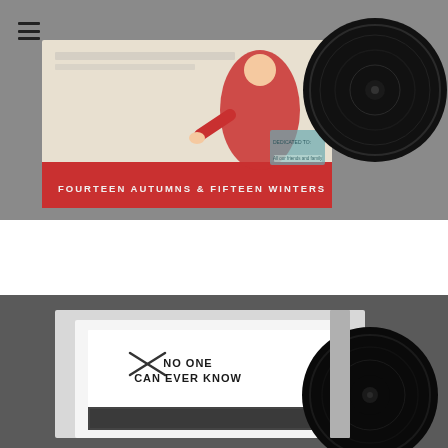[Figure (photo): Vinyl record album 'Fourteen Autumns & Fifteen Winters' shown with album artwork featuring a stylized illustration of a woman in red and a vinyl record disc, on a gray background.]
[Figure (photo): Vinyl record album 'No One Can Ever Know' shown with white album sleeve/packaging and a vinyl record disc partially visible, on a dark gray background.]